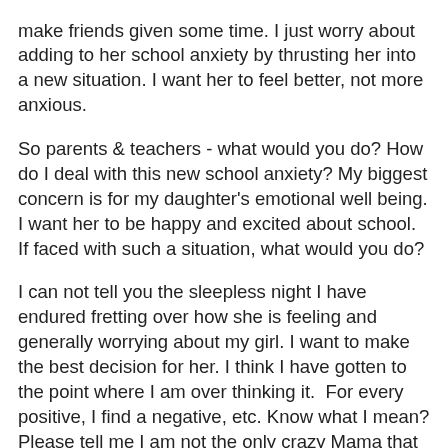make friends given some time. I just worry about adding to her school anxiety by thrusting her into a new situation. I want her to feel better, not more anxious.
So parents & teachers - what would you do? How do I deal with this new school anxiety? My biggest concern is for my daughter's emotional well being. I want her to be happy and excited about school. If faced with such a situation, what would you do?
I can not tell you the sleepless night I have endured fretting over how she is feeling and generally worrying about my girl. I want to make the best decision for her. I think I have gotten to the point where I am over thinking it.  For every positive, I find a negative, etc. Know what I mean? Please tell me I am not the only crazy Mama that does this. I so need to hear that I am not alone.
As we struggle with our issues, I am sure you can forgive my lack of content here. My mind is focused elsewhere right now. Please keep my little girl (and me) in your thoughts & prayers. All I want is my happy and excited girl back.